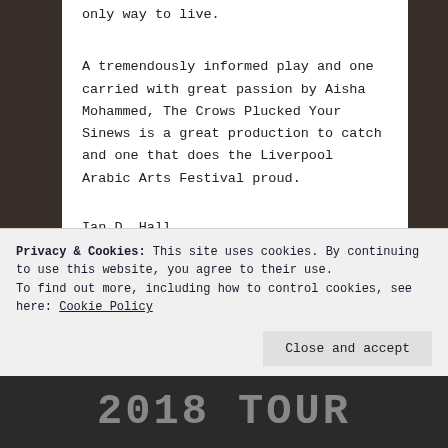only way to live.
A tremendously informed play and one carried with great passion by Aisha Mohammed, The Crows Plucked Your Sinews is a great production to catch and one that does the Liverpool Arabic Arts Festival proud.
Ian D. Hall
Privacy & Cookies: This site uses cookies. By continuing to use this website, you agree to their use. To find out more, including how to control cookies, see here: Cookie Policy
Close and accept
2018 TOUR